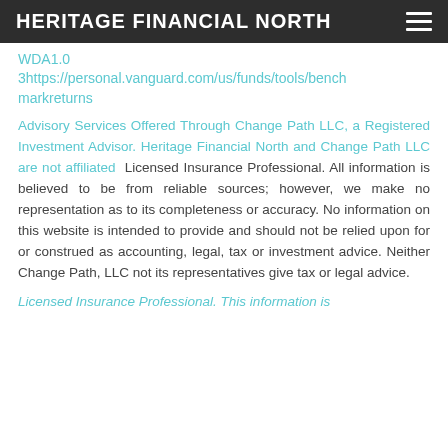HERITAGE FINANCIAL NORTH
WDA1.0
3https://personal.vanguard.com/us/funds/tools/benchmarkreturns
Advisory Services Offered Through Change Path LLC, a Registered Investment Advisor. Heritage Financial North and Change Path LLC are not affiliated Licensed Insurance Professional. All information is believed to be from reliable sources; however, we make no representation as to its completeness or accuracy. No information on this website is intended to provide and should not be relied upon for or construed as accounting, legal, tax or investment advice. Neither Change Path, LLC not its representatives give tax or legal advice.
Licensed Insurance Professional. This information is